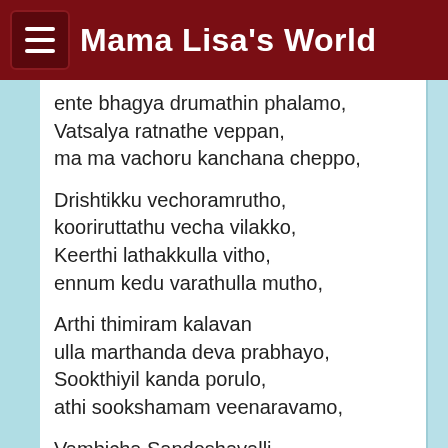Mama Lisa's World
ente bhagya drumathin phalamo,
Vatsalya ratnathe veppan,
ma ma vachoru kanchana cheppo,
Drishtikku vechoramrutho,
kooriruttathu vecha vilakko,
Keerthi lathakkulla vitho,
ennum kedu varathulla mutho,
Arthi thimiram kalavan
ulla marthanda deva prabhayo,
Sookthiyil kanda porulo,
athi sookshamam veenaravamo,
Vambicha Sandoshavalli,
thande kombathu pootha poovalli